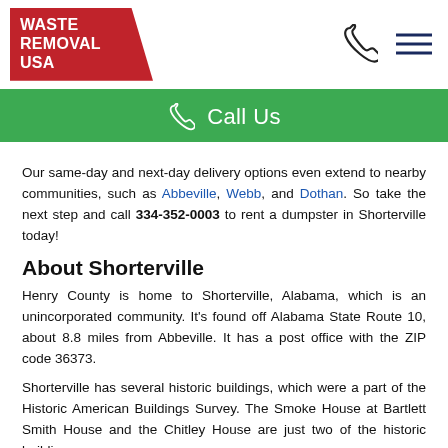Waste Removal USA | Call Us
Our same-day and next-day delivery options even extend to nearby communities, such as Abbeville, Webb, and Dothan. So take the next step and call 334-352-0003 to rent a dumpster in Shorterville today!
About Shorterville
Henry County is home to Shorterville, Alabama, which is an unincorporated community. It's found off Alabama State Route 10, about 8.8 miles from Abbeville. It has a post office with the ZIP code 36373.
Shorterville has several historic buildings, which were a part of the Historic American Buildings Survey. The Smoke House at Bartlett Smith House and the Chitley House are just two of the historic buildings.